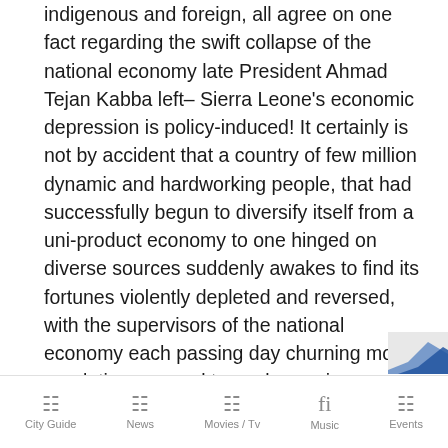indigenous and foreign, all agree on one fact regarding the swift collapse of the national economy late President Ahmad Tejan Kabba left– Sierra Leone's economic depression is policy-induced! It certainly is not by accident that a country of few million dynamic and hardworking people, that had successfully begun to diversify itself from a uni-product economy to one hinged on diverse sources suddenly awakes to find its fortunes violently depleted and reversed, with the supervisors of the national economy each passing day churning more regulations geared towards causing more harm and creating more confusion domestically and causing disinterest from genuine foreign investors.
City Guide | News | Movies / Tv | Music | Events